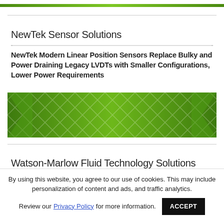[Figure (illustration): Green geometric decorative bar at the top of the page]
NewTek Sensor Solutions
NewTek Modern Linear Position Sensors Replace Bulky and Power Draining Legacy LVDTs with Smaller Configurations, Lower Power Requirements
[Figure (illustration): Green diamond-pattern decorative graphic with corner chevron shapes]
Watson-Marlow Fluid Technology Solutions
By using this website, you agree to our use of cookies. This may include personalization of content and ads, and traffic analytics. Review our Privacy Policy for more information.
ACCEPT